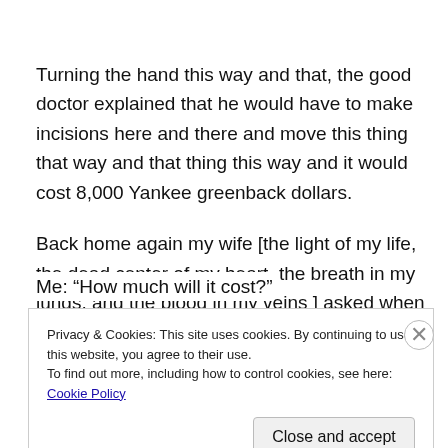Turning the hand this way and that, the good doctor explained that he would have to make incisions here and there and move this thing that way and that thing this way and it would cost 8,000 Yankee greenback dollars.
Back home again my wife [the light of my life, the dead center of my heart, the breath in my lungs, and the blood in my veins ] asked when she should set up the surgery.
Me: “How much will it cost?”
Privacy & Cookies: This site uses cookies. By continuing to use this website, you agree to their use.
To find out more, including how to control cookies, see here: Cookie Policy